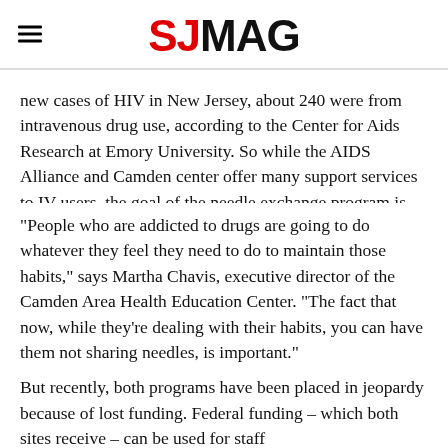SJMAG
new cases of HIV in New Jersey, about 240 were from intravenous drug use, according to the Center for Aids Research at Emory University. So while the AIDS Alliance and Camden center offer many support services to IV users, the goal of the needle exchange program is not to stop addiction, but to stop HIV.
“People who are addicted to drugs are going to do whatever they feel they need to do to maintain those habits,” says Martha Chavis, executive director of the Camden Area Health Education Center. “The fact that now, while they’re dealing with their habits, you can have them not sharing needles, is important.”
But recently, both programs have been placed in jeopardy because of lost funding. Federal funding – which both sites receive – can be used for staff